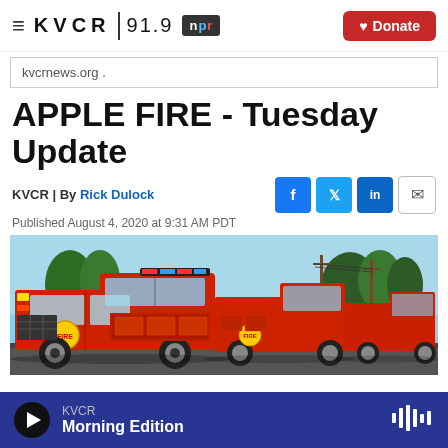≡ KVCR 91.9 npr • Donate
kvcrnews.org .
APPLE FIRE - Tuesday Update
KVCR | By Rick Dulock
Published August 4, 2020 at 9:31 AM PDT
[Figure (photo): A row of red fire trucks lined up, with trees and utility poles visible in the background against a partly cloudy sky.]
KVCR Morning Edition